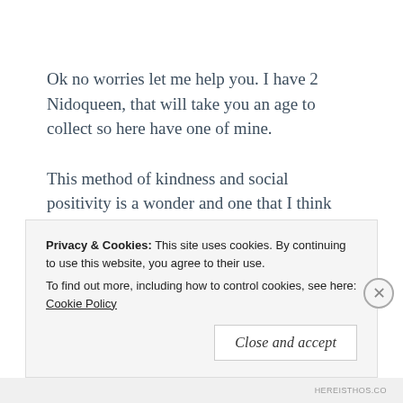Ok no worries let me help you. I have 2 Nidoqueen, that will take you an age to collect so here have one of mine.
This method of kindness and social positivity is a wonder and one that I think Pokémon Go ahs always had but can now add another arrow to its quiver. I do belong to a local Facebook Pokémon Go community
Privacy & Cookies: This site uses cookies. By continuing to use this website, you agree to their use.
To find out more, including how to control cookies, see here: Cookie Policy
Close and accept
HEREISTHOS.CO